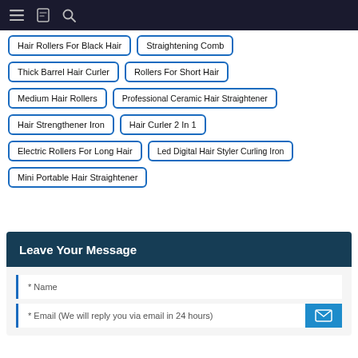Navigation bar with menu, bookmark, and search icons
Hair Rollers For Black Hair
Straightening Comb
Thick Barrel Hair Curler
Rollers For Short Hair
Medium Hair Rollers
Professional Ceramic Hair Straightener
Hair Strengthener Iron
Hair Curler 2 In 1
Electric Rollers For Long Hair
Led Digital Hair Styler Curling Iron
Mini Portable Hair Straightener
Leave Your Message
* Name
* Email (We will reply you via email in 24 hours)